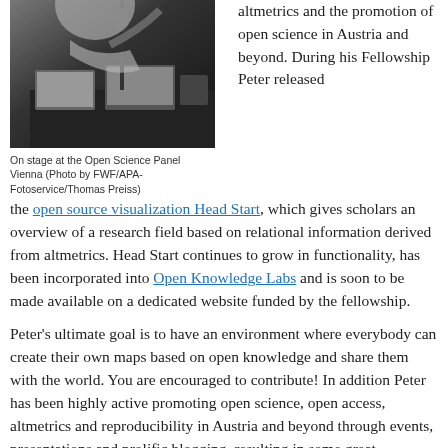[Figure (photo): Person on stage at a conference or panel event, with a microphone visible, dark background with laptop/equipment visible]
On stage at the Open Science Panel Vienna (Photo by FWF/APA-Fotoservice/Thomas Preiss)
altmetrics and the promotion of open science in Austria and beyond. During his Fellowship Peter released the open source visualization Head Start, which gives scholars an overview of a research field based on relational information derived from altmetrics. Head Start continues to grow in functionality, has been incorporated into Open Knowledge Labs and is soon to be made available on a dedicated website funded by the fellowship.
Peter's ultimate goal is to have an environment where everybody can create their own maps based on open knowledge and share them with the world. You are encouraged to contribute! In addition Peter has been highly active promoting open science, open access, altmetrics and reproducibility in Austria and beyond through events, presentations and prolific blogging, resulting in some great discussions generated on social media. He has also contributed to a German summary of open science activities every month and is currently involved in kick-starting a German-speaking open science community, the Austrian Internet Foundation and beyond.